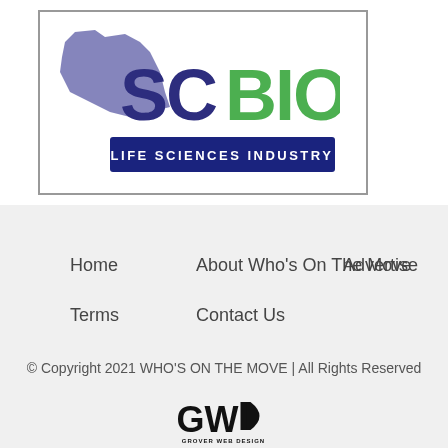[Figure (logo): SCBIO Life Sciences Industry logo with South Carolina state outline in purple/blue and green BIO text]
Home   About Who's On The Move   Advertise
Terms   Contact Us
© Copyright 2021 WHO'S ON THE MOVE | All Rights Reserved
[Figure (logo): GWD Grover Web Design logo in black text]